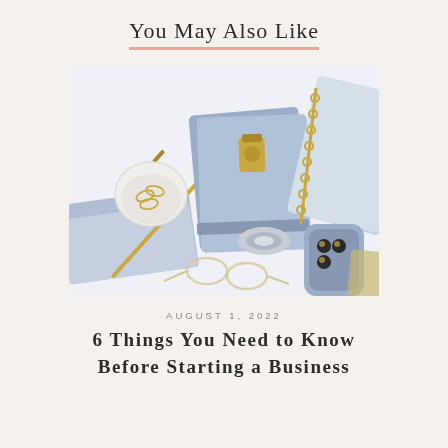You May Also Like
[Figure (photo): Flat lay photo of blue-grey stationery items including notebooks with gold binder clips, a small dish with paper clips, a phone with a blue case, gold-rimmed glasses, washi tape, and a pen on a white surface.]
AUGUST 1, 2022
6 Things You Need to Know Before Starting a Business